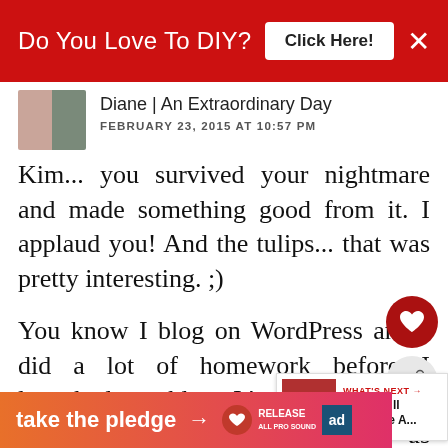Do You Love To DIY? Click Here!
Diane | An Extraordinary Day
FEBRUARY 23, 2015 AT 10:57 PM
Kim... you survived your nightmare and made something good from it. I applaud you! And the tulips... that was pretty interesting. ;)
You know I blog on WordPress an... did a lot of homework before I launched my blog. It's all I... like it. And, sometimes I th... the key as much as anything. We
[Figure (screenshot): What's Next overlay with thumbnail image and text 'Why I Will Never Be A...']
take the pledge → RELEASE